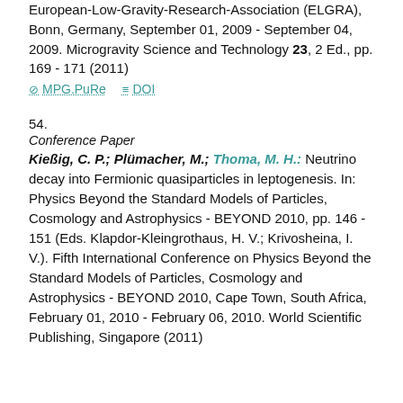European-Low-Gravity-Research-Association (ELGRA), Bonn, Germany, September 01, 2009 - September 04, 2009. Microgravity Science and Technology 23, 2 Ed., pp. 169 - 171 (2011)
MPG.PuRe   DOI
54.
Conference Paper
Kießig, C. P.; Plümacher, M.; Thoma, M. H.: Neutrino decay into Fermionic quasiparticles in leptogenesis. In: Physics Beyond the Standard Models of Particles, Cosmology and Astrophysics - BEYOND 2010, pp. 146 - 151 (Eds. Klapdor-Kleingrothaus, H. V.; Krivosheina, I. V.). Fifth International Conference on Physics Beyond the Standard Models of Particles, Cosmology and Astrophysics - BEYOND 2010, Cape Town, South Africa, February 01, 2010 - February 06, 2010. World Scientific Publishing, Singapore (2011)